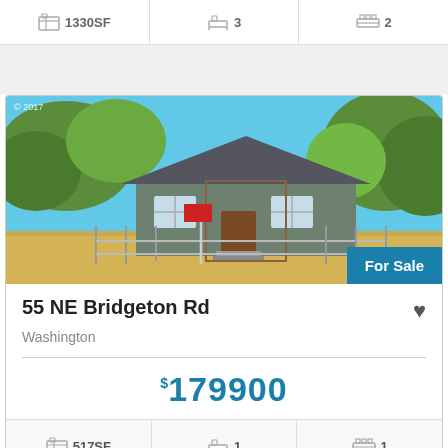| Square Footage | Bathrooms | Bedrooms |
| --- | --- | --- |
| 1330SF | 3 | 2 |
[Figure (photo): Exterior photo of a single-story house with gray siding, brown door, chain-link fence, and mature trees. Blue sky background. 'For Sale' badge in bottom right corner. © 2017 watermark.]
55 NE Bridgeton Rd
Washington
$179900
| Square Footage | Bedrooms | Bathrooms |
| --- | --- | --- |
| 517SF | 1 | 1 |